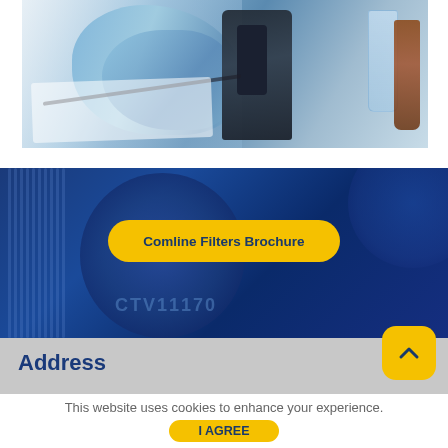[Figure (photo): Laboratory scene with scientist wearing blue gloves using a microscope, with lab glassware and flasks in background]
[Figure (photo): Blue banner background showing Comline filter product (CTY11170) with vertical rib pattern and circular shapes]
Comline Filters Brochure
Address
This website uses cookies to enhance your experience.
I AGREE